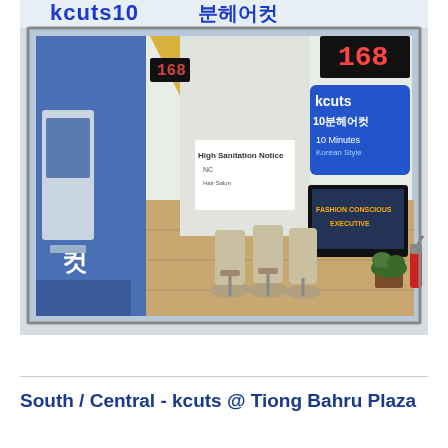[Figure (photo): Interior photo of a kcuts 10-minute Korean-style haircut shop. The storefront shows barber chairs lined up, blue and white decor, Korean text '10분헤어컷' on the wall, a ticketing/kiosk machine on the left, a TV screen on the right showing 'kcuts 10분헤어컷 10 Minutes Korean Style', and a fire extinguisher near the entrance. The shop sign at top reads 'kcuts10 분헤어컷' in blue text.]
South / Central - kcuts @ Tiong Bahru Plaza